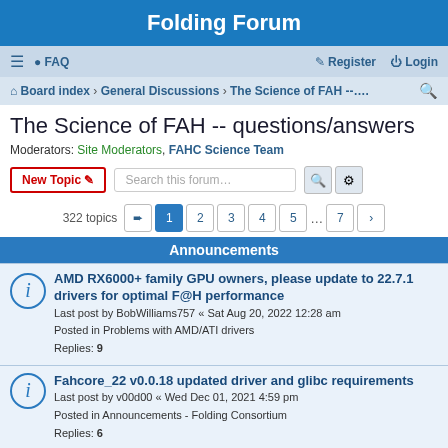Folding Forum
≡  FAQ    Register   Login
Board index › General Discussions › The Science of FAH --....
The Science of FAH -- questions/answers
Moderators: Site Moderators, FAHC Science Team
New Topic   Search this forum…
322 topics  1 2 3 4 5 ... 7 >
Announcements
AMD RX6000+ family GPU owners, please update to 22.7.1 drivers for optimal F@H performance
Last post by BobWilliams757 « Sat Aug 20, 2022 12:28 am
Posted in Problems with AMD/ATI drivers
Replies: 9
Fahcore_22 v0.0.18 updated driver and glibc requirements
Last post by v00d00 « Wed Dec 01, 2021 4:59 pm
Posted in Announcements - Folding Consortium
Replies: 6
New Client Released - V7.6.21
Last post by PantherX « Fri Oct 23, 2020 9:45 pm
Posted in Announcements - Folding Consortium